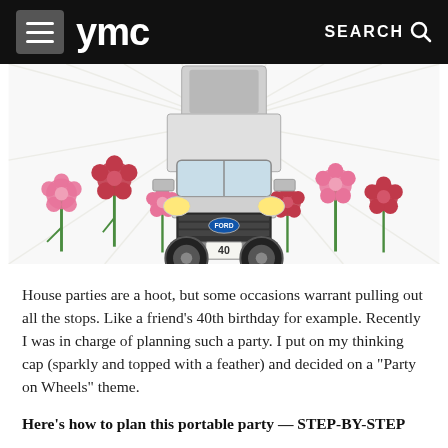ymc   SEARCH
[Figure (photo): A large truck (Ford F-series) driving head-on toward the viewer with a license plate reading '40', surrounded by pink and red flower decorations on either side, on a white background with motion-blur rays.]
House parties are a hoot, but some occasions warrant pulling out all the stops. Like a friend's 40th birthday for example. Recently I was in charge of planning such a party. I put on my thinking cap (sparkly and topped with a feather) and decided on a "Party on Wheels" theme.
Here's how to plan this portable party — STEP-BY-STEP
1. Come up with a guest list and send out a "save-the-